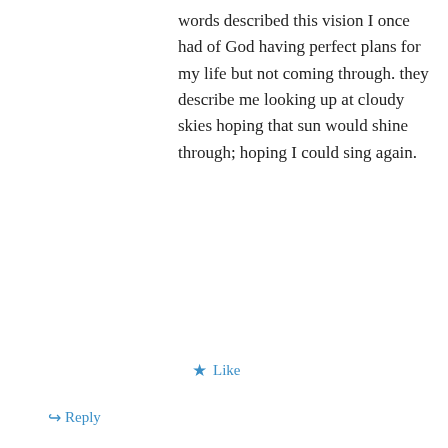words described this vision I once had of God having perfect plans for my life but not coming through. they describe me looking up at cloudy skies hoping that sun would shine through; hoping I could sing again.
★ Like
↪ Reply
Pingback: Adventure « Glass Overflowing
Pingback: Calling
Advertisements
REPORT THIS AD